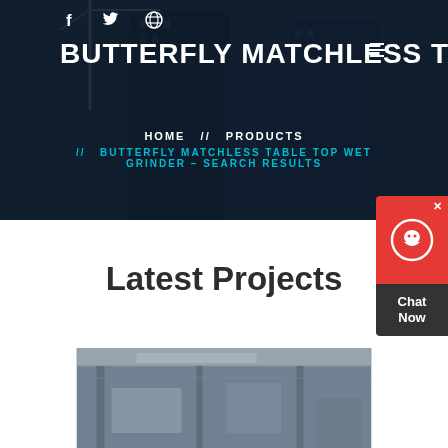BUTTERFLY MATCHLESS TABLE
HOME // PRODUCTS // BUTTERFLY MATCHLESS TABLE TOP WET GRINDER – SEARCH RESULTS
[Figure (screenshot): Chat Now widget with red top section containing chat icon and X close button, dark bottom section with 'Chat Now' text]
Latest Projects
[Figure (photo): Industrial or construction site interior photo showing machinery and structural elements]